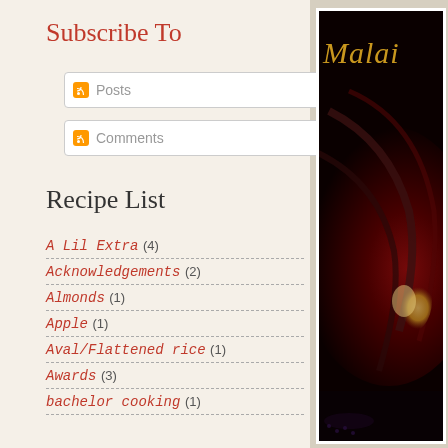Subscribe To
Posts
Comments
Recipe List
A Lil Extra (4)
Acknowledgements (2)
Almonds (1)
Apple (1)
Aval/Flattened rice (1)
Awards (3)
bachelor cooking (1)
Badam (1)
Baking (10)
Beverages (2)
[Figure (photo): Dark close-up photo of a cooking pan or vessel with the text 'Malai' in gold cursive script visible at top]